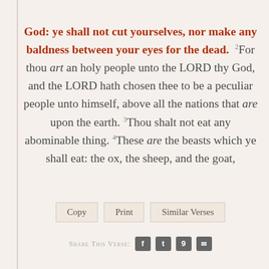God: ye shall not cut yourselves, nor make any baldness between your eyes for the dead. 2For thou art an holy people unto the LORD thy God, and the LORD hath chosen thee to be a peculiar people unto himself, above all the nations that are upon the earth. 3Thou shalt not eat any abominable thing. 4These are the beasts which ye shall eat: the ox, the sheep, and the goat,